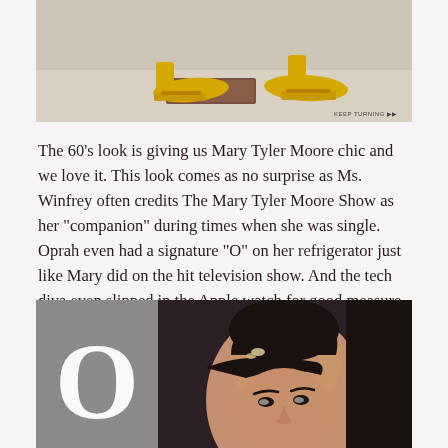[Figure (photo): Photo of yellow high-heeled shoes/loafers, one foot on a wooden block, with text 'KEEP TURNING' in bottom right corner]
The 60's look is giving us Mary Tyler Moore chic and we love it. This look comes as no surprise as Ms. Winfrey often credits The Mary Tyler Moore Show as her "companion" during times when she was single. Oprah even had a signature "O" on her refrigerator just like Mary did on the hit television show. And the tech diva even slipped in the Apple watch for good measure. We see you Oprah!
[Figure (photo): Left side shows gray background with large white letter O. Right side shows a woman (Oprah Winfrey) with braided updo hairstyle, hair accessory, wearing a dark headband, looking forward.]